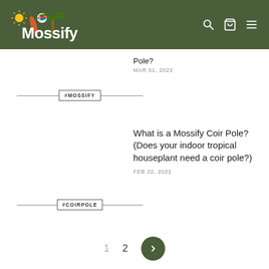[Figure (logo): Mossify logo with summer beach theme on dark olive green header background, with search, cart, and menu icons on the right]
Pole?
MAR 01, 2022
#MOSSIFY
What is a Mossify Coir Pole? (Does your indoor tropical houseplant need a coir pole?)
FEB 22, 2022
#COIRPOLE
1  2  >